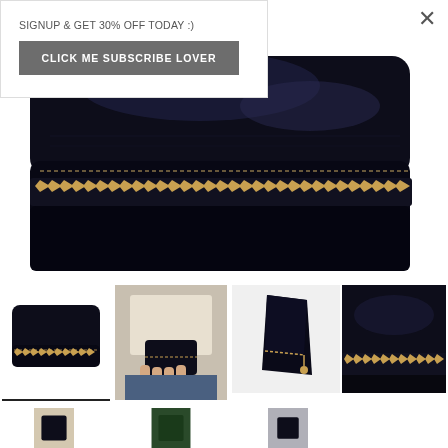SIGNUP & GET 30% OFF TODAY :)
CLICK ME SUBSCRIBE LOVER
[Figure (photo): Close-up photo of a black leather wallet/purse with gold zipper detail, textured leather surface visible at top.]
[Figure (photo): Four product thumbnail images: 1) Black leather zip wallet front view; 2) Person holding wallet showing it in use; 3) Black wallet open/angled view; 4) Close-up of black leather and gold zipper corner detail.]
[Figure (photo): Second row of partial thumbnail images cut off at bottom of page.]